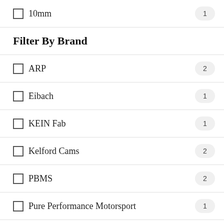10mm  1
Filter By Brand
ARP  2
Eibach  1
KEIN Fab  1
Kelford Cams  2
PBMS  2
Pure Performance Motorsport  1
Raceworks  1
Whiteline  18